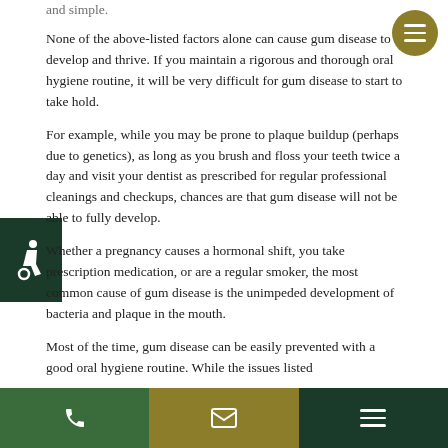and simple.
None of the above-listed factors alone can cause gum disease to develop and thrive. If you maintain a rigorous and thorough oral hygiene routine, it will be very difficult for gum disease to start to take hold.
For example, while you may be prone to plaque buildup (perhaps due to genetics), as long as you brush and floss your teeth twice a day and visit your dentist as prescribed for regular professional cleanings and checkups, chances are that gum disease will not be able to fully develop.
Whether a pregnancy causes a hormonal shift, you take prescription medication, or are a regular smoker, the most common cause of gum disease is the unimpeded development of bacteria and plaque in the mouth.
Most of the time, gum disease can be easily prevented with a good oral hygiene routine. While the issues listed